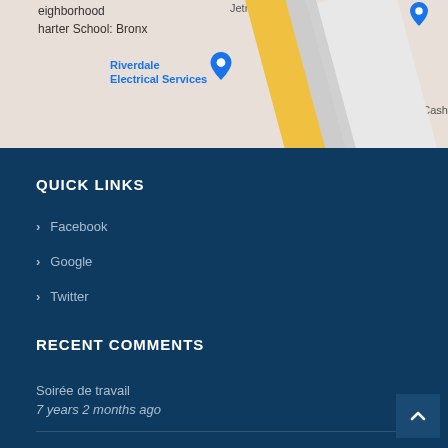[Figure (screenshot): Partial Google Maps screenshot showing streets including Riverdale Electrical Services marker, route 278 shield, and Jetro Cash label. Background shows road network with yellow and gray roads.]
QUICK LINKS
› Facebook
› Google
› Twitter
RECENT COMMENTS
Soirée de travail
7 years 2 months ago
Site touristique par excellence.
7 years 2 months ago
PHOTO STREAM